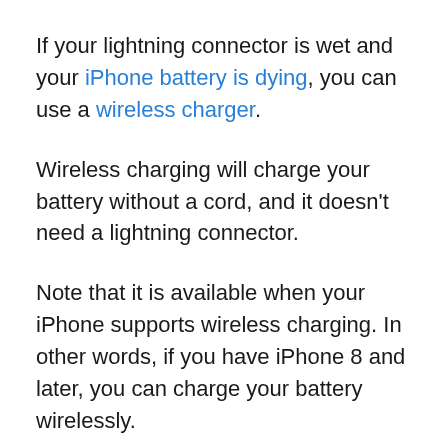If your lightning connector is wet and your iPhone battery is dying, you can use a wireless charger.
Wireless charging will charge your battery without a cord, and it doesn't need a lightning connector.
Note that it is available when your iPhone supports wireless charging. In other words, if you have iPhone 8 and later, you can charge your battery wirelessly.
6. Wait and Try to Dry Your iPhone